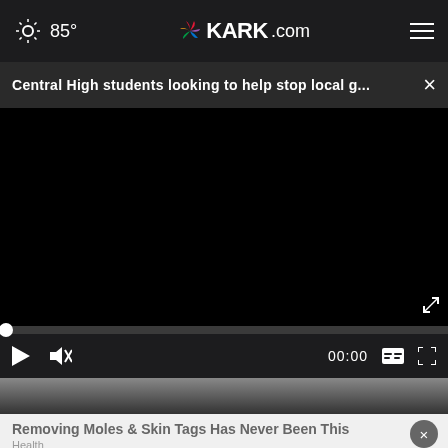85° KARK.com
Central High students looking to help stop local g... ×
[Figure (screenshot): Black video player area showing a paused or unloaded video. Progress bar at bottom with white dot at 0. Controls: play button, mute icon, time 00:00, captions icon, fullscreen icon.]
[Figure (photo): Partial photo strip showing blurred/dark image of a person.]
Removing Moles & Skin Tags Has Never Been This
Health
NETWORKO Services Group data + voice  We Don't Just Care About Technology. We Care About You & Your Results.  501-758-6058  LEARN MORE